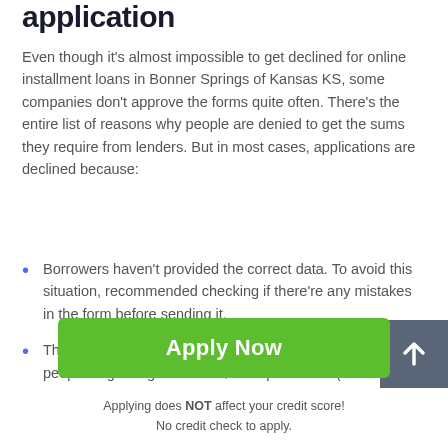application
Even though it's almost impossible to get declined for online installment loans in Bonner Springs of Kansas KS, some companies don't approve the forms quite often. There's the entire list of reasons why people are denied to get the sums they require from lenders. But in most cases, applications are declined because:
Borrowers haven't provided the correct data. To avoid this situation, recommended checking if there're any mistakes in the form before sending it.
The income isn't enough. To be approved for instal loans, people ought to get at least $1000 per month (the
Apply Now
Applying does NOT affect your credit score!
No credit check to apply.